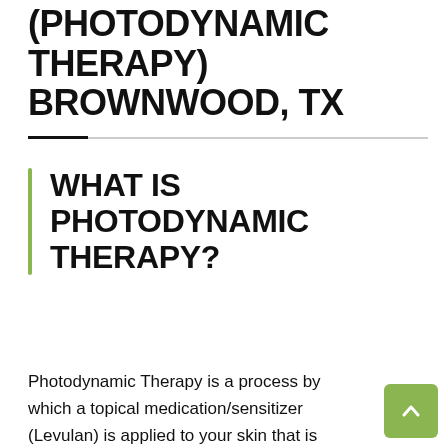(PHOTODYNAMIC THERAPY) BROWNWOOD, TX
WHAT IS PHOTODYNAMIC THERAPY?
Photodynamic Therapy is a process by which a topical medication/sensitizer (Levulan) is applied to your skin that is activated by a